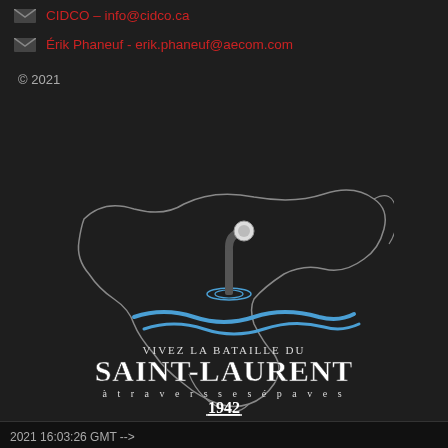CIDCO – info@cidco.ca
Érik Phaneuf - erik.phaneuf@aecom.com
© 2021
[Figure (logo): VIVEZ LA BATAILLE DU SAINT-LAURENT à travers ses épaves 1942 — logo with submarine periscope emerging from water, set against outline map of St. Lawrence River region, with blue wave design]
2021 16:03:26 GMT -->